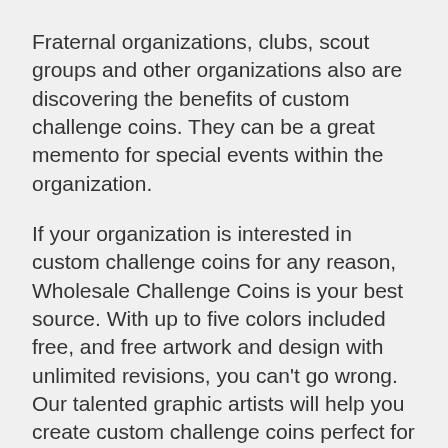Fraternal organizations, clubs, scout groups and other organizations also are discovering the benefits of custom challenge coins. They can be a great memento for special events within the organization.
If your organization is interested in custom challenge coins for any reason, Wholesale Challenge Coins is your best source. With up to five colors included free, and free artwork and design with unlimited revisions, you can't go wrong. Our talented graphic artists will help you create custom challenge coins perfect for your group. If you'd like to know more, fill out our Free Quote form, email us at sales@wholesale-challengecoins.com, or call toll free at 1-877-373-1843 and let...